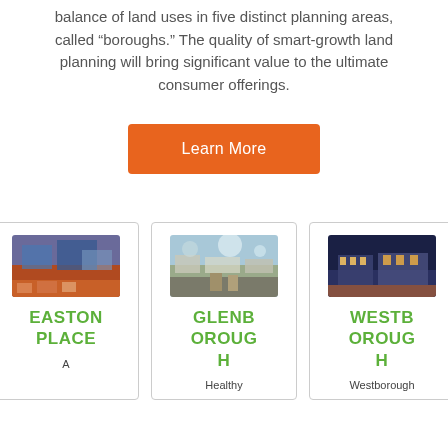balance of land uses in five distinct planning areas, called “boroughs.” The quality of smart-growth land planning will bring significant value to the ultimate consumer offerings.
Learn More
[Figure (photo): Easton Place building exterior at dusk]
EASTON PLACE
A
[Figure (photo): Glenborough aerial or street view]
GLENBOROUGH
Healthy
[Figure (photo): Westborough building exterior at night]
WESTBOROUGH
Westborough